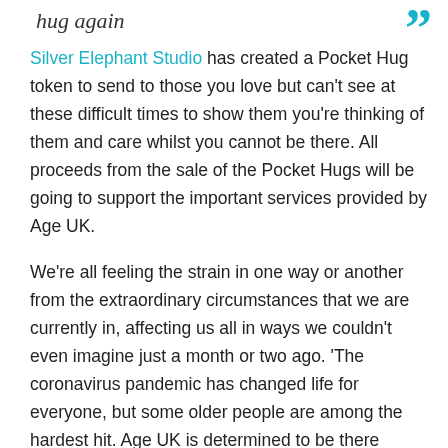hug again
Silver Elephant Studio has created a Pocket Hug token to send to those you love but can't see at these difficult times to show them you're thinking of them and care whilst you cannot be there. All proceeds from the sale of the Pocket Hugs will be going to support the important services provided by Age UK.
We're all feeling the strain in one way or another from the extraordinary circumstances that we are currently in, affecting us all in ways we couldn't even imagine just a month or two ago. 'The coronavirus pandemic has changed life for everyone, but some older people are among the hardest hit. Age UK is determined to be there during this crisis – but we can't do it without support. Demand for our vital services is increasing rapidly. Please help us be there for older people who need us most by making this crisis a